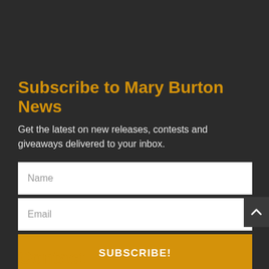Subscribe to Mary Burton News
Get the latest on new releases, contests and giveaways delivered to your inbox.
[Figure (other): Web form with Name input field, Email input field, and SUBSCRIBE! button on dark background]
Contact